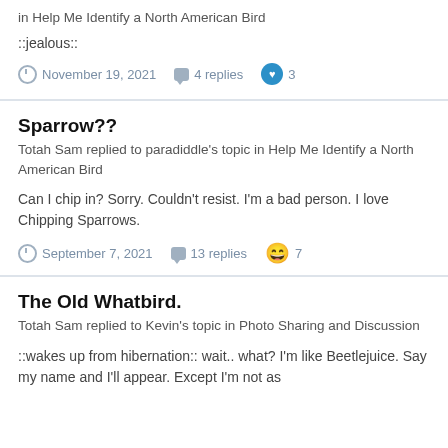in Help Me Identify a North American Bird
::jealous::
November 19, 2021   4 replies   3
Sparrow??
Totah Sam replied to paradiddle's topic in Help Me Identify a North American Bird
Can I chip in? Sorry. Couldn't resist. I'm a bad person. I love Chipping Sparrows.
September 7, 2021   13 replies   7
The Old Whatbird.
Totah Sam replied to Kevin's topic in Photo Sharing and Discussion
::wakes up from hibernation:: wait.. what? I'm like Beetlejuice. Say my name and I'll appear. Except I'm not as